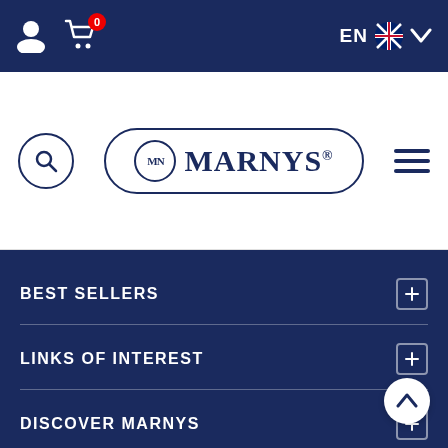[Figure (screenshot): Top navigation bar with dark navy background, user icon, shopping cart icon with badge showing 0, and EN with UK flag and dropdown arrow on the right]
[Figure (logo): MARNYS logo with MN circular emblem inside rounded rectangle border, flanked by search circle icon on left and hamburger menu on right]
BEST SELLERS
LINKS OF INTEREST
DISCOVER MARNYS
HELP
FOLLOW US ON SOCIAL NETWORKS